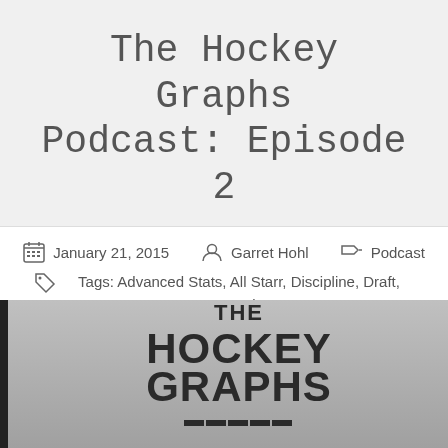The Hockey Graphs Podcast: Episode 2
January 21, 2015   Garret Hohl   Podcast
Tags: Advanced Stats, All Starr, Discipline, Draft, Suspensions, Toronto Maple Leafs, Vancouver Canucks, Winnipeg Jets
4 Comments
[Figure (logo): The Hockey Graphs Podcast logo on a grey background with a black vertical bar on the left side]